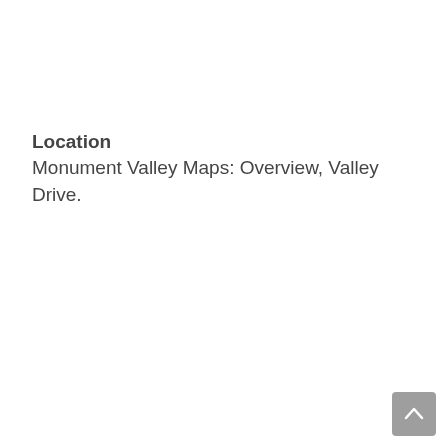Location
Monument Valley Maps: Overview, Valley Drive.